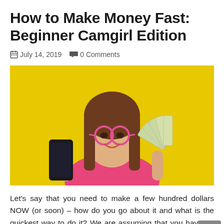How to Make Money Fast: Beginner Camgirl Edition
July 14, 2019   0 Comments
[Figure (photo): Young woman with pink glasses and pink tank top, holding a smartphone in one hand and a fan of US dollar bills in the other hand, against a yellow background.]
Let's say that you need to make a few hundred dollars NOW (or soon) – how do you go about it and what is the quickest way to do it? We are assuming that you have no prior camming experience.